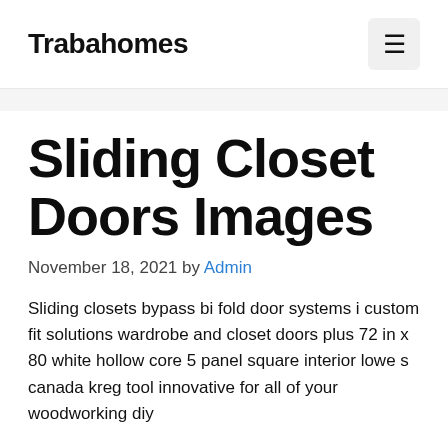Trabahomes
Sliding Closet Doors Images
November 18, 2021 by Admin
Sliding closets bypass bi fold door systems i custom fit solutions wardrobe and closet doors plus 72 in x 80 white hollow core 5 panel square interior lowe s canada kreg tool innovative for all of your woodworking diy